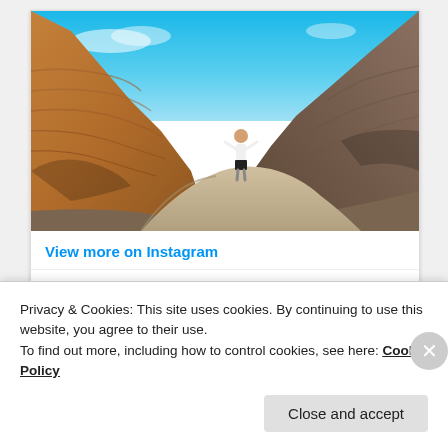[Figure (photo): Person standing on rock formation in a canyon with layered sandstone walls and blue sky above]
View more on Instagram
[Figure (other): Social media action icons: heart, comment, share, and bookmark]
Privacy & Cookies: This site uses cookies. By continuing to use this website, you agree to their use.
To find out more, including how to control cookies, see here: Cookie Policy
Close and accept